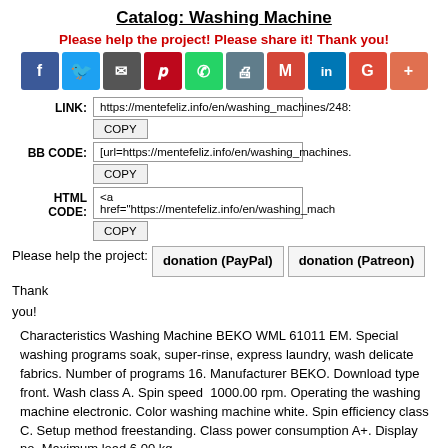Catalog: Washing Machine
Please help the project! Please share it! Thank you!
[Figure (infographic): Row of 10 social media share icon buttons: Facebook (blue), Twitter (light blue), Email (dark gray), Pinterest (red), WhatsApp (green), Print (gray), Gmail (red), LinkedIn (blue), Google+ (red-orange), Plus (orange-red)]
LINK: https://mentefeliz.info/en/washing_machines/248: [COPY button]
BB CODE: [url=https://mentefeliz.info/en/washing_machines. [COPY button]
HTML CODE: <a href="https://mentefeliz.info/en/washing_mach [COPY button]
Please help the project: donation (PayPal) donation (Patreon) Thank you!
Characteristics Washing Machine BEKO WML 61011 EM. Special washing programs soak, super-rinse, express laundry, wash delicate fabrics. Number of programs 16. Manufacturer BEKO. Download type front. Wash class A. Spin speed  1000.00 rpm. Operating the washing machine electronic. Color washing machine white. Spin efficiency class C. Setup method freestanding. Class power consumption A+. Display no. Maximum load 6.00 kg.